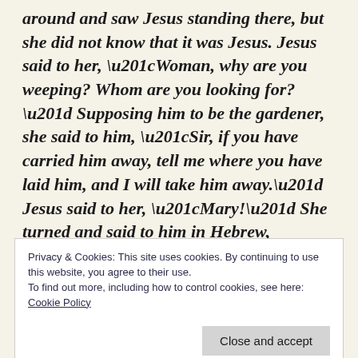around and saw Jesus standing there, but she did not know that it was Jesus. Jesus said to her, “Woman, why are you weeping? Whom are you looking for?” Supposing him to be the gardener, she said to him, “Sir, if you have carried him away, tell me where you have laid him, and I will take him away.” Jesus said to her, “Mary!” She turned and said to him in Hebrew, “Rabbouni!” (which means Teacher). Jesus said to her, “Do not hold on to me, because I have not yet ascended to the
Privacy & Cookies: This site uses cookies. By continuing to use this website, you agree to their use.
To find out more, including how to control cookies, see here: Cookie Policy
them that he had said these things to her.